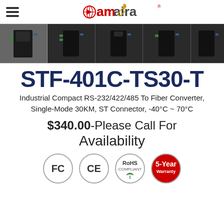amaira (logo)
[Figure (photo): Five product thumbnail photos of the STF-401C-TS30-T industrial fiber converter device, shown in a horizontal strip]
STF-401C-TS30-T
Industrial Compact RS-232/422/485 To Fiber Converter, Single-Mode 30KM, ST Connector, -40°C ~ 70°C
$340.00-Please Call For Availability
[Figure (logo): FCC, CE, RoHS Compliant, and 5-Year Warranty certification badges]